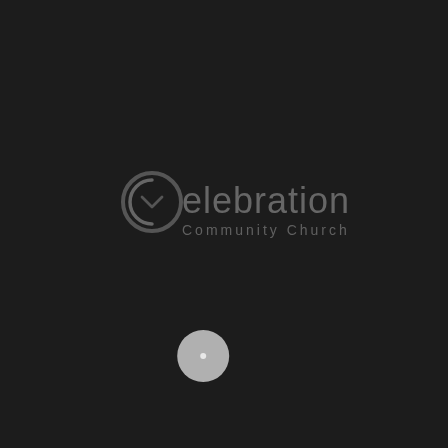[Figure (logo): Celebration Community Church logo on dark background. The logo features a stylized letter C with a circular swoosh design, followed by the text 'Celebration' in large letters, and 'Community Church' in smaller letters below. Below the logo is a circular grey play/navigation button.]